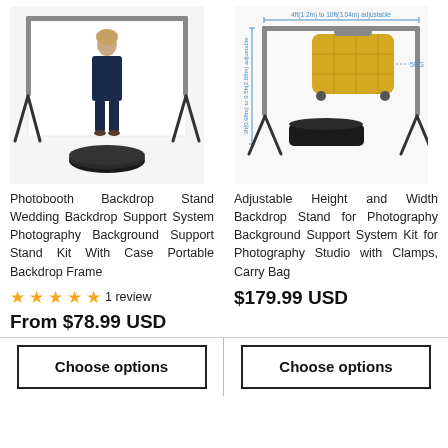[Figure (photo): Photobooth backdrop stand with white background, woman in blue suit standing in front, black carry bag below]
[Figure (photo): Adjustable height and width backdrop stand diagram showing dimensions: 4ft(1.2m) to 10ft(3.04m) adjustable width, 3ft(0.98m) to 9.5ft(2.88m) adjustable height, with yellow suitcase (5KG) hanging and black carry bag]
Photobooth Backdrop Stand Wedding Backdrop Support System Photography Background Support Stand Kit With Case Portable Backdrop Frame
Adjustable Height and Width Backdrop Stand for Photography Background Support System Kit for Photography Studio with Clamps, Carry Bag
★★★★★ 1 review
$179.99 USD
From $78.99 USD
Choose options
Choose options